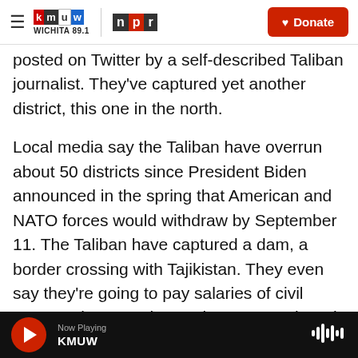KMUW Wichita 89.1 | NPR | Donate
posted on Twitter by a self-described Taliban journalist. They've captured yet another district, this one in the north.
Local media say the Taliban have overrun about 50 districts since President Biden announced in the spring that American and NATO forces would withdraw by September 11. The Taliban have captured a dam, a border crossing with Tajikistan. They even say they're going to pay salaries of civil servants in areas they've just captured. And to drive home the message that they're ascendant in Afghanistan, a Taliban spokesman says today's
Now Playing KMUW